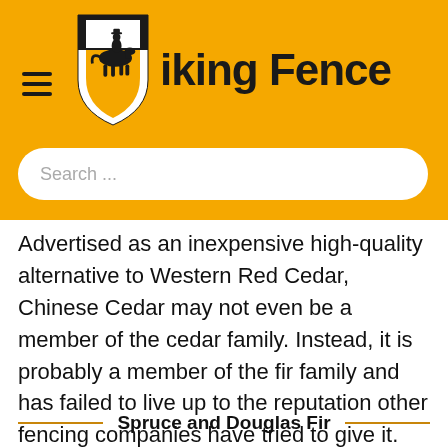[Figure (logo): Viking Fence logo — shield shape with cowboy silhouette on horseback, next to bold text 'Viking Fence' on a golden/amber background, with hamburger menu icon on the left]
Search ...
Advertised as an inexpensive high-quality alternative to Western Red Cedar, Chinese Cedar may not even be a member of the cedar family. Instead, it is probably a member of the fir family and has failed to live up to the reputation other fencing companies have tried to give it.
Spruce and Douglas Fir